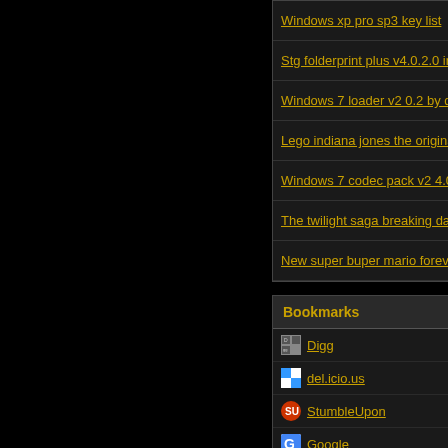Windows xp pro sp3 key list
Stg folderprint plus v4.0.2.0 incl cr
Windows 7 loader v2 0.2 by daz fr
Lego indiana jones the original ad
Windows 7 codec pack v2 4.0 setu
The twilight saga breaking dawn 2
New super buper mario forever 20
Bookmarks
Digg
del.icio.us
StumbleUpon
Google